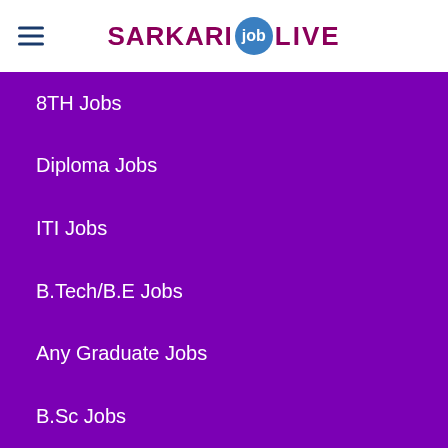SARKARI job LIVE
8TH Jobs
Diploma Jobs
ITI Jobs
B.Tech/B.E Jobs
Any Graduate Jobs
B.Sc Jobs